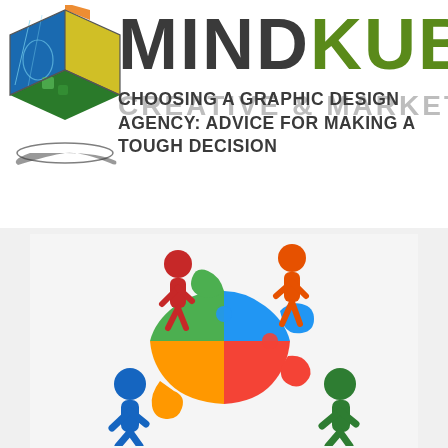[Figure (logo): MindKube logo with 3D cube graphic on left and stylized text MINDKUBE on right, with CREATIVE & MARKETING subtitle]
CHOOSING A GRAPHIC DESIGN AGENCY: ADVICE FOR MAKING A TOUGH DECISION
[Figure (illustration): Four colorful 3D figures (red, orange, blue, green) assembling a four-piece puzzle circle with green, blue, orange, and red pieces]